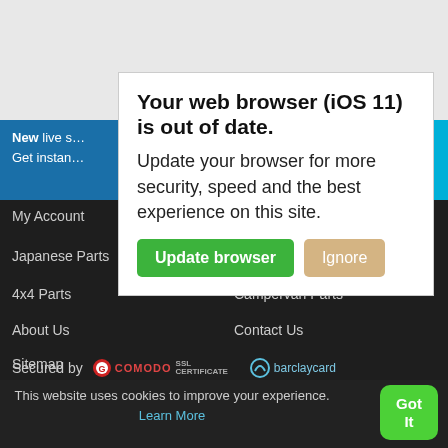[Figure (screenshot): Browser update warning modal dialog overlaying a website. Modal says 'Your web browser (iOS 11) is out of date. Update your browser for more security, speed and the best experience on this site.' with Update browser (green) and Ignore (tan) buttons.]
New live s... Get instan...
My Account
Japanese Parts
Van Parts
4x4 Parts
Campervan Parts
About Us
Contact Us
Sitemap
Secured by
This website uses cookies to improve your experience. Learn More